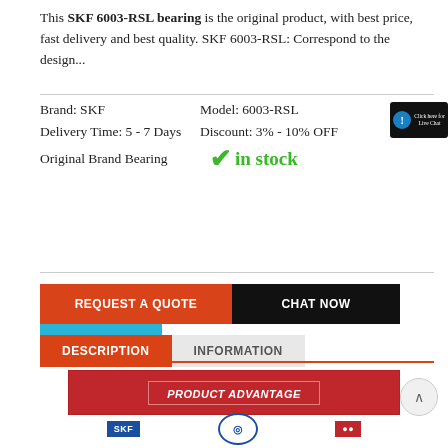This SKF 6003-RSL bearing is the original product, with best price, fast delivery and best quality. SKF 6003-RSL: Correspond to the design...
Brand: SKF    Model: 6003-RSL
Delivery Time: 5 - 7 Days    Discount: 3% - 10% OFF
Original Brand Bearing    ✓ in stock
REQUEST A QUOTE   CHAT NOW   E-MAIL
DESCRIPTION   INFORMATION
[Figure (other): PRODUCT ADVANTAGE banner with logos below including SKF, a circular logo, and a red logo]